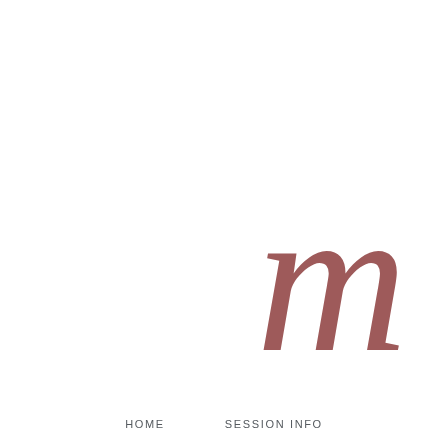[Figure (illustration): Large decorative cursive/script letter in dusty rose/mauve color, partially cropped on the right side of the page]
HOME    SESSION INFO